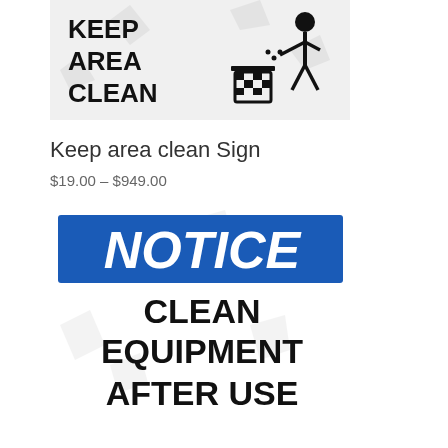[Figure (illustration): Keep Area Clean sign showing text 'KEEP AREA CLEAN' with an icon of a person putting trash in a bin]
Keep area clean Sign
$19.00 – $949.00
[Figure (illustration): Notice sign with blue header reading 'NOTICE' in white italic text, and black text below reading 'CLEAN EQUIPMENT AFTER USE']